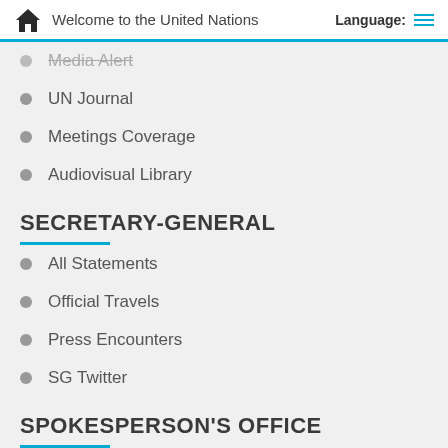Welcome to the United Nations | Language:
Media Alert
UN Journal
Meetings Coverage
Audiovisual Library
SECRETARY-GENERAL
All Statements
Official Travels
Press Encounters
SG Twitter
SPOKESPERSON'S OFFICE